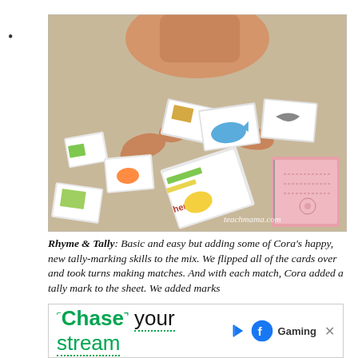•
[Figure (photo): A child sitting on a carpet floor with hands reaching down toward scattered educational rhyming puzzle cards. A pink notebook is visible on the right side. Watermark reads teachmama.com.]
Rhyme & Tally: Basic and easy but adding some of Cora's happy, new tally-marking skills to the mix. We flipped all of the cards over and took turns making matches. And with each match, Cora added a tally mark to the sheet. We added marks and the highest score won.
[Figure (screenshot): Advertisement banner: 'Chase your stream' with Facebook Gaming logo and a play icon, and a close (X) button.]